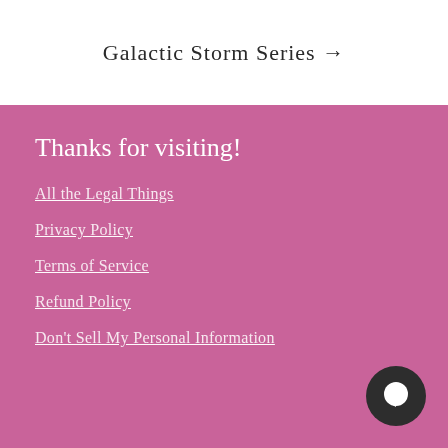Galactic Storm Series →
Thanks for visiting!
All the Legal Things
Privacy Policy
Terms of Service
Refund Policy
Don't Sell My Personal Information
[Figure (illustration): Dark circular chat bubble button icon in bottom right corner]